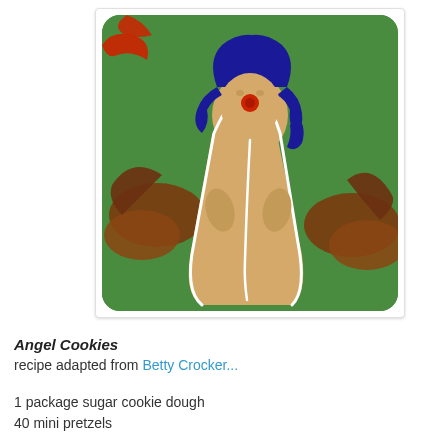[Figure (photo): Angel-shaped sugar cookies decorated with blue hair icing, red nose, and white icing outline, arranged on a green surface with brown pretzel wings]
Angel Cookies
recipe adapted from Betty Crocker...
1 package sugar cookie dough
40 mini pretzels